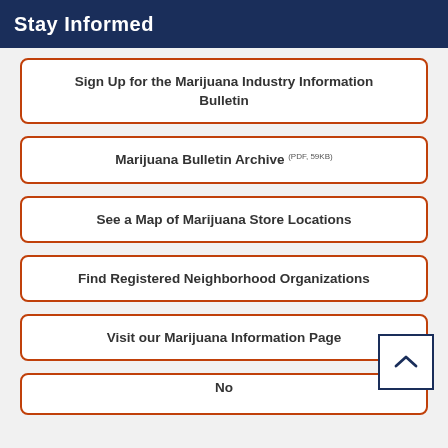Stay Informed
Sign Up for the Marijuana Industry Information Bulletin
Marijuana Bulletin Archive (PDF, 59KB)
See a Map of Marijuana Store Locations
Find Registered Neighborhood Organizations
Visit our Marijuana Information Page
No...